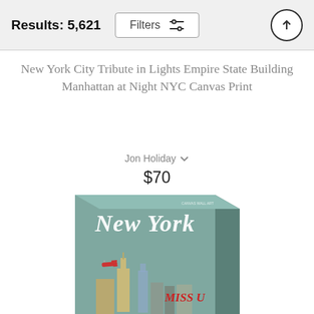Results: 5,621
Filters
New York City Tribute in Lights Empire State Building Manhattan at Night NYC Canvas Print
Jon Holiday
$70
[Figure (photo): A canvas print showing a vintage New York travel poster with 'NEW YORK' text in white cursive script on a teal/grey background, with illustrated NYC skyline including the Empire State Building and a small airplane, and 'MISS U' text in red italics.]